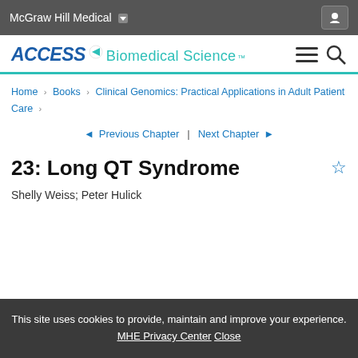McGraw Hill Medical
[Figure (logo): ACCESS Biomedical Science logo with teal arrow and hamburger/search icons]
Home > Books > Clinical Genomics: Practical Applications in Adult Patient Care >
Previous Chapter | Next Chapter
23: Long QT Syndrome
Shelly Weiss; Peter Hulick
This site uses cookies to provide, maintain and improve your experience. MHE Privacy Center Close